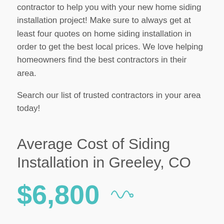contractor to help you with your new home siding installation project! Make sure to always get at least four quotes on home siding installation in order to get the best local prices. We love helping homeowners find the best contractors in their area.
Search our list of trusted contractors in your area today!
Average Cost of Siding Installation in Greeley, CO
$6,800
Other Popular Siding Projects in Your Area